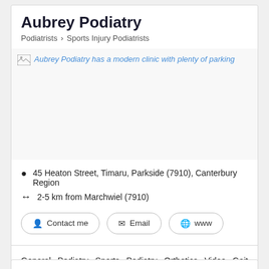Aubrey Podiatry
Podiatrists > Sports Injury Podiatrists
[Figure (photo): Image placeholder with broken icon and alt text: Aubrey Podiatry has a modern clinic with plenty of parking]
45 Heaton Street, Timaru, Parkside (7910), Canterbury Region
2-5 km from Marchwiel (7910)
Contact me   Email   www
General Podiatry Sports Podiatry Orthotics Video Gait Analysis Footwear Advise House calls  Read more